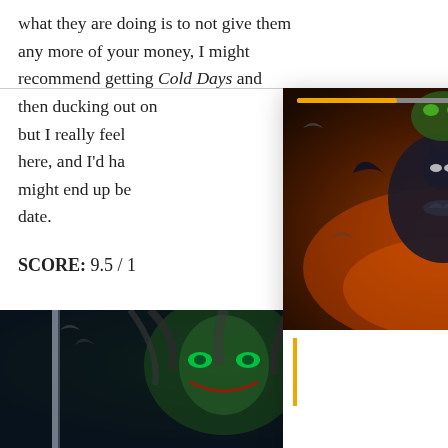what they are doing is to not give them any more of your money, I might recommend getting Cold Days and then ducking out on [text continues behind popup] but I really feel [text continues] here, and I'd ha[ve text continues] might end up be[text continues] date.
SCORE: 9.5 / 1[0]
[Figure (photo): Comic book cover art popup overlay showing Batman and villain characters in dramatic composition with orange/dark color palette. Popup has a progress bar at top, close (X) and options (...) icons, and an orange circular arrow/next button.]
[Figure (photo): Comic book cover art at bottom of page showing The Joker face with green eyes and wild hair, with Harley Quinn and Batman imagery in background, dark blue/black color palette.]